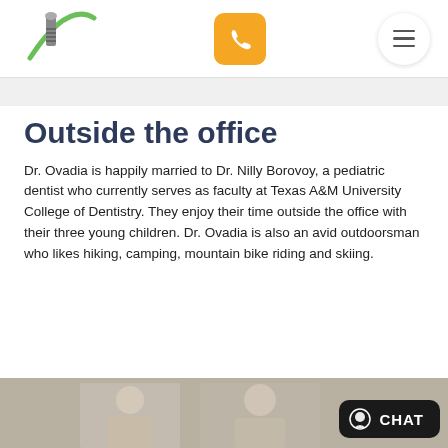[Figure (logo): Dental implant logo with green swoosh and tooth/implant graphic]
[Figure (other): Orange rounded square phone call button icon]
[Figure (other): Hamburger menu button (three horizontal lines) in circular white button]
Outside the office
Dr. Ovadia is happily married to Dr. Nilly Borovoy, a pediatric dentist who currently serves as faculty at Texas A&M University College of Dentistry. They enjoy their time outside the office with their three young children. Dr. Ovadia is also an avid outdoorsman who likes hiking, camping, mountain bike riding and skiing.
[Figure (photo): Partial photo of what appears to be a family portrait]
[Figure (other): Dark CHAT button overlay with person/chat icon]